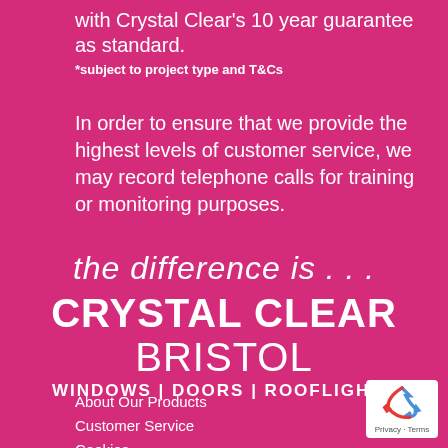with Crystal Clear's 10 year guarantee as standard.
*subject to project type and T&Cs
In order to ensure that we provide the highest levels of customer service, we may record telephone calls for training or monitoring purposes.
the difference is . . .
CRYSTAL CLEAR BRISTOL
WINDOWS | DOORS | ROOFLIGHTS
About Our Products
Customer Service
Cookies
[Figure (logo): reCAPTCHA badge with recycling arrow logo and Privacy - Terms text]